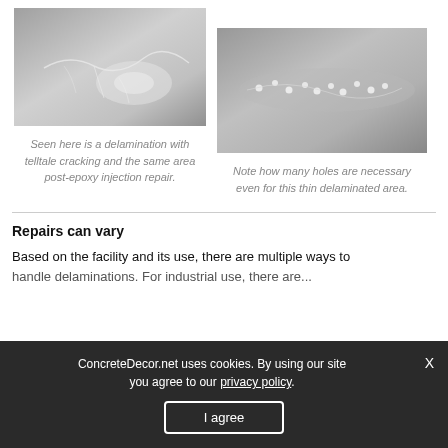[Figure (photo): Photograph of a concrete surface showing delamination with telltale cracking, and the same area post-epoxy injection repair with visible repair marks.]
Seen here is a delamination with telltale cracking and the same area post-epoxy injection repair.
[Figure (photo): Photograph of a concrete surface showing many small holes drilled for a thin delaminated area repair.]
Note how many holes are necessary even for this thin delaminated area.
Repairs can vary
Based on the facility and its use, there are multiple ways to
handle delaminations. For industrial use, there are...
ConcreteDecor.net uses cookies. By using our site you agree to our privacy policy.